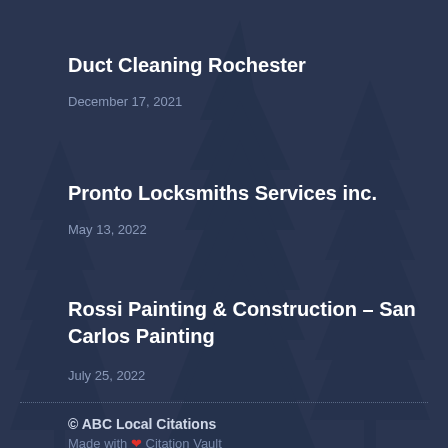Duct Cleaning Rochester
December 17, 2021
Pronto Locksmiths Services inc.
May 13, 2022
Rossi Painting & Construction – San Carlos Painting
July 25, 2022
© ABC Local Citations
Made with ❤ Citation Vault